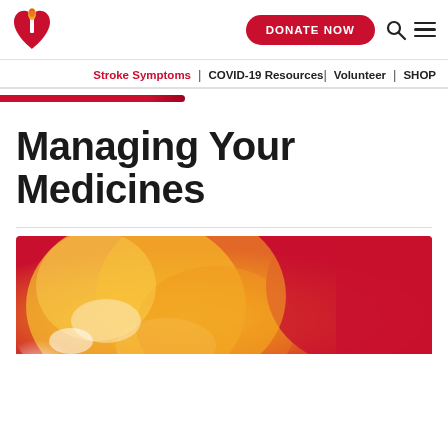[Figure (logo): American Heart Association logo — red heart with torch flame]
DONATE NOW
Stroke Symptoms | COVID-19 Resources | Volunteer | SHOP
Managing Your Medicines
[Figure (photo): Close-up blurred photo of orange and yellow medicine pills/capsules with red background]